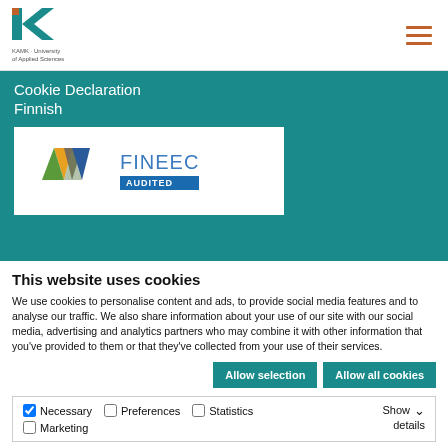KAMK - University of Applied Sciences
Cookie Declaration
Finnish
[Figure (logo): FINEEC AUDITED logo with colourful triangular shapes on a white background inside a teal banner]
This website uses cookies
We use cookies to personalise content and ads, to provide social media features and to analyse our traffic. We also share information about your use of our site with our social media, advertising and analytics partners who may combine it with other information that you've provided to them or that they've collected from your use of their services.
Allow selection | Allow all cookies
Necessary  Preferences  Statistics  Marketing  Show details